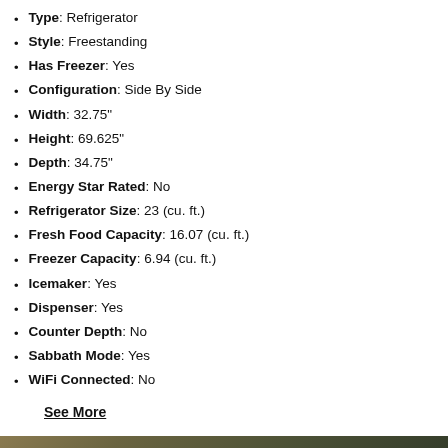Type: Refrigerator
Style: Freestanding
Has Freezer: Yes
Configuration: Side By Side
Width: 32.75"
Height: 69.625"
Depth: 34.75"
Energy Star Rated: No
Refrigerator Size: 23 (cu. ft.)
Fresh Food Capacity: 16.07 (cu. ft.)
Freezer Capacity: 6.94 (cu. ft.)
Icemaker: Yes
Dispenser: Yes
Counter Depth: No
Sabbath Mode: Yes
WiFi Connected: No
See More
[Figure (screenshot): Video player showing 'How to Prepare for Your Refrigerator Delivery' with a player error overlay: 'Player error — The player is having trouble. We'll have it back up and running as soon as possible.' Close button (X) in top right. Chat button (green circle with person icon) in bottom right.]